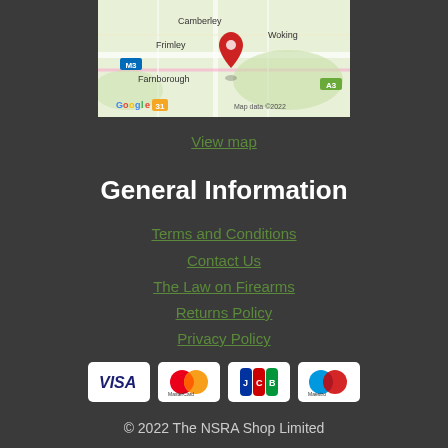[Figure (map): Google Maps screenshot showing area around Camberley, Frimley, Woking, Farnborough with a red location pin. Shows M3 and A3 roads. Map data copyright 2022.]
View map
General Information
Terms and Conditions
Contact Us
The Law on Firearms
Returns Policy
Privacy Policy
[Figure (other): Payment method icons: VISA, MasterCard, JCB, Maestro]
© 2022 The NSRA Shop Limited